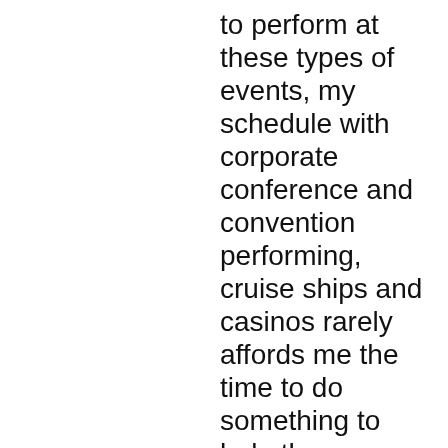to perform at these types of events, my schedule with corporate conference and convention performing, cruise ships and casinos rarely affords me the time to do something to help the